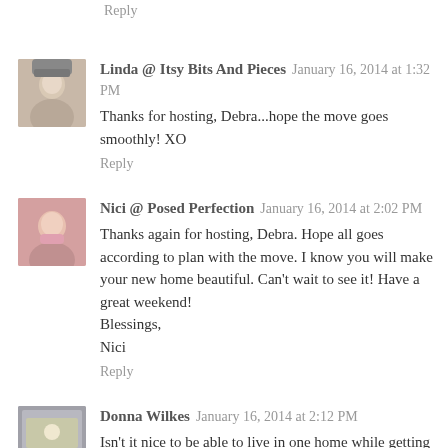Reply
[Figure (photo): Avatar photo of Linda]
Linda @ Itsy Bits And Pieces  January 16, 2014 at 1:32 PM
Thanks for hosting, Debra...hope the move goes smoothly! XO
Reply
[Figure (photo): Avatar photo of Nici]
Nici @ Posed Perfection  January 16, 2014 at 2:02 PM
Thanks again for hosting, Debra. Hope all goes according to plan with the move. I know you will make your new home beautiful. Can't wait to see it! Have a great weekend!
Blessings,
Nici
Reply
[Figure (photo): Avatar photo of Donna Wilkes]
Donna Wilkes  January 16, 2014 at 2:12 PM
Isn't it nice to be able to live in one home while getting the other ready? Good luck. Thank you for taking the time to host.